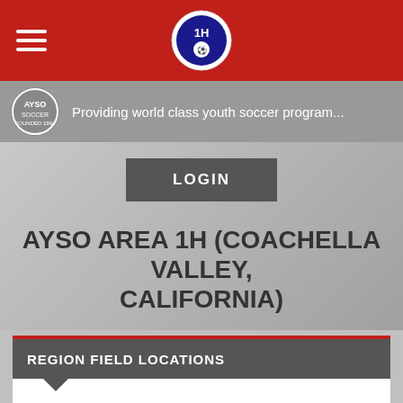[Figure (logo): Red navigation bar with hamburger menu icon on the left and AYSO Area 1H logo in the center]
Providing world class youth soccer program...
LOGIN
AYSO AREA 1H (COACHELLA VALLEY, CALIFORNIA)
REGION FIELD LOCATIONS
DIRECTIONS TO FIELDS